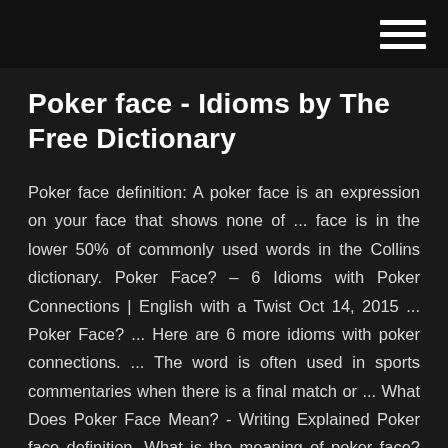Poker face - Idioms by The Free Dictionary
Poker face definition: A poker face is an expression on your face that shows none of ... face is in the lower 50% of commonly used words in the Collins dictionary. Poker Face? – 6 Idioms with Poker Connections | English with a Twist Oct 14, 2015 ... Poker Face? ... Here are 6 more idioms with poker connections. ... The word is often used in sports commentaries when there is a final match or ... What Does Poker Face Mean? - Writing Explained Poker face definition. What is the meaning of poker face? Learn this English idiom along with other words and phrases at Writing Explained. What is poker face? Poker Face (Lady Gaga